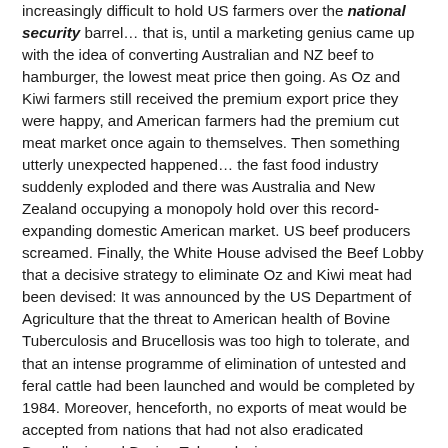increasingly difficult to hold US farmers over the national security barrel... that is, until a marketing genius came up with the idea of converting Australian and NZ beef to hamburger, the lowest meat price then going. As Oz and Kiwi farmers still received the premium export price they were happy, and American farmers had the premium cut meat market once again to themselves. Then something utterly unexpected happened... the fast food industry suddenly exploded and there was Australia and New Zealand occupying a monopoly hold over this record-expanding domestic American market. US beef producers screamed. Finally, the White House advised the Beef Lobby that a decisive strategy to eliminate Oz and Kiwi meat had been devised: It was announced by the US Department of Agriculture that the threat to American health of Bovine Tuberculosis and Brucellosis was too high to tolerate, and that an intense programme of elimination of untested and feral cattle had been launched and would be completed by 1984. Moreover, henceforth, no exports of meat would be accepted from nations that had not also eradicated Brucellosis and Bovine Tuberculosis.